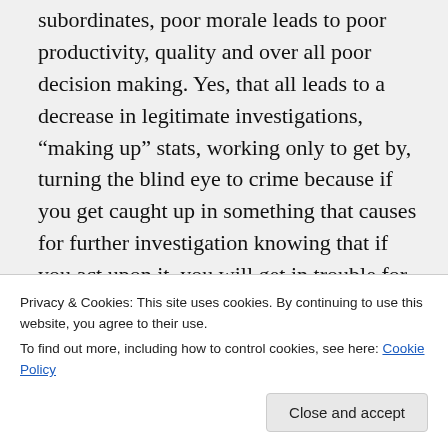subordinates, poor morale leads to poor productivity, quality and over all poor decision making. Yes, that all leads to a decrease in legitimate investigations, “making up” stats, working only to get by, turning the blind eye to crime because if you get caught up in something that causes for further investigation knowing that if you act upon it, you will get in trouble for spending to much time in one place etc;. As for as the increase in chump change,
Privacy & Cookies: This site uses cookies. By continuing to use this website, you agree to their use.
To find out more, including how to control cookies, see here: Cookie Policy
agent came by to do the inspection, my